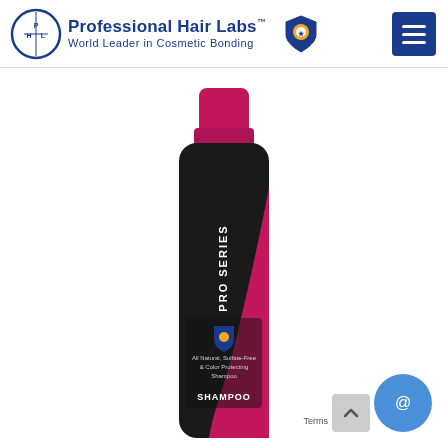[Figure (logo): Professional Hair Labs logo with circular PHL emblem, brand name text reading 'Professional Hair Labs™ World Leader in Cosmetic Bonding', and a shield badge icon]
[Figure (other): Hamburger/menu icon button in dark blue square, top right corner]
[Figure (other): Orange circular accessibility icon with person figure, left side]
[Figure (photo): Pro Series Shampoo bottle with black and magenta/pink design. Label reads 'PRO SERIES', 'All Natural, Sulfate-Free & Color Protecting Shampoo', 'SHAMPOO'. Bottle has a pink/magenta cap.]
[Figure (other): Blue circular chat widget icon with chat bubble symbol, bottom right]
[Figure (other): Grey scroll-to-top arrow button, bottom right area]
Terms